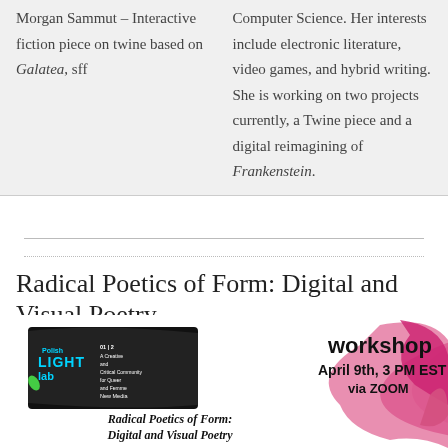Morgan Sammut – Interactive fiction piece on twine based on Galatea, sff
Computer Science. Her interests include electronic literature, video games, and hybrid writing. She is working on two projects currently, a Twine piece and a digital reimagining of Frankenstein.
Radical Poetics of Form: Digital and Visual Poetry
[Figure (infographic): Promotional graphic for 'Radical Poetics of Form: Digital and Visual Poetry' workshop on April 9th, 3 PM EST via ZOOM, featuring the Polish Light Lab logo and pink paint splash imagery with bold text.]